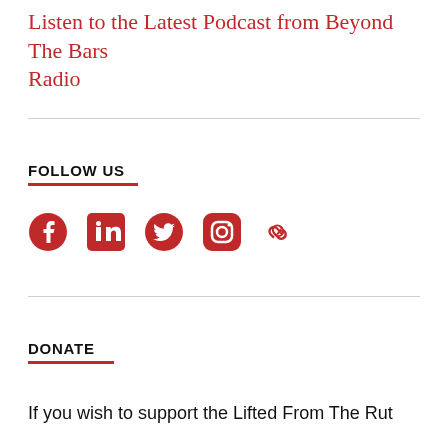Listen to the Latest Podcast from Beyond The Bars Radio
FOLLOW US
[Figure (other): Social media icons row: Facebook, LinkedIn, Twitter, Instagram, and a link/copy icon, all in dark red/crimson color]
DONATE
If you wish to support the Lifted From The Rut